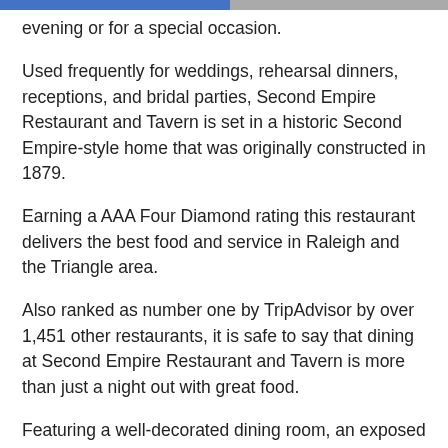evening or for a special occasion.
Used frequently for weddings, rehearsal dinners, receptions, and bridal parties, Second Empire Restaurant and Tavern is set in a historic Second Empire-style home that was originally constructed in 1879.
Earning a AAA Four Diamond rating this restaurant delivers the best food and service in Raleigh and the Triangle area.
Also ranked as number one by TripAdvisor by over 1,451 other restaurants, it is safe to say that dining at Second Empire Restaurant and Tavern is more than just a night out with great food.
Featuring a well-decorated dining room, an exposed brick cellar, and a beautiful front porch that is a perfect place to